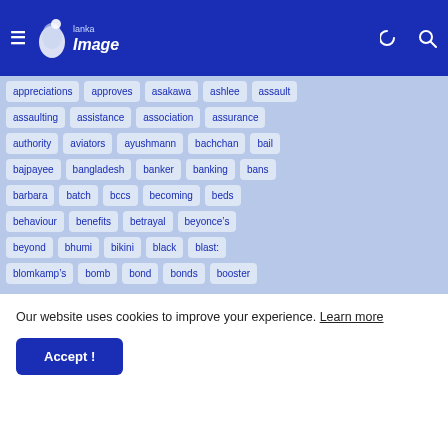Lanka Image
appreciations
approves
asakawa
ashlee
assault
assaulting
assistance
association
assurance
authority
aviators
ayushmann
bachchan
bail
bajpayee
bangladesh
banker
banking
bans
barbara
batch
bccs
becoming
beds
behaviour
benefits
betrayal
beyonce&#8217;s
beyond
bhumi
bikini
black
blast:
blomkamp&#8217;s
bomb
bond
bonds
booster
Our website uses cookies to improve your experience. Learn more
Accept !